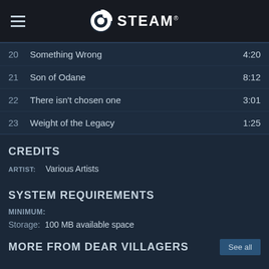STEAM
| # | Title | Time |
| --- | --- | --- |
| 20 | Something Wrong | 4:20 |
| 21 | Son of Odane | 8:12 |
| 22 | There isn't chosen one | 3:01 |
| 23 | Weight of the Legacy | 1:25 |
CREDITS
ARTIST: Various Artists
SYSTEM REQUIREMENTS
MINIMUM:
Storage: 100 MB available space
MORE FROM DEAR VILLAGERS